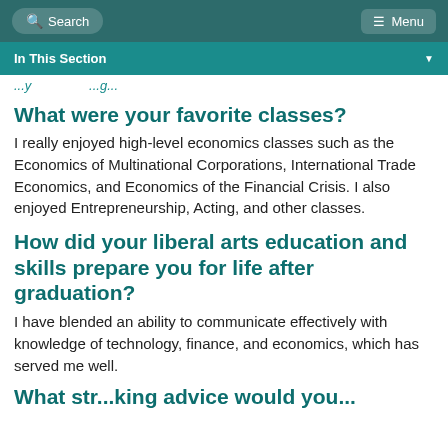Search  Menu
In This Section
...y... ...g...
What were your favorite classes?
I really enjoyed high-level economics classes such as the Economics of Multinational Corporations, International Trade Economics, and Economics of the Financial Crisis. I also enjoyed Entrepreneurship, Acting, and other classes.
How did your liberal arts education and skills prepare you for life after graduation?
I have blended an ability to communicate effectively with knowledge of technology, finance, and economics, which has served me well.
What str...king advice would you...